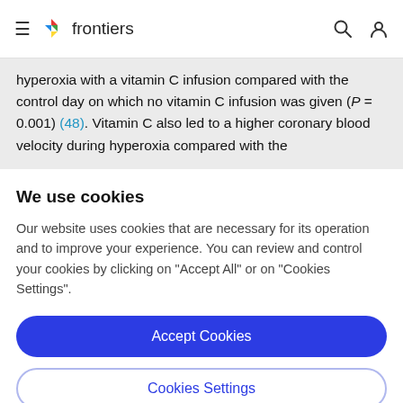frontiers
hyperoxia with a vitamin C infusion compared with the control day on which no vitamin C infusion was given (P = 0.001) (48). Vitamin C also led to a higher coronary blood velocity during hyperoxia compared with the
We use cookies
Our website uses cookies that are necessary for its operation and to improve your experience. You can review and control your cookies by clicking on "Accept All" or on "Cookies Settings".
Accept Cookies
Cookies Settings